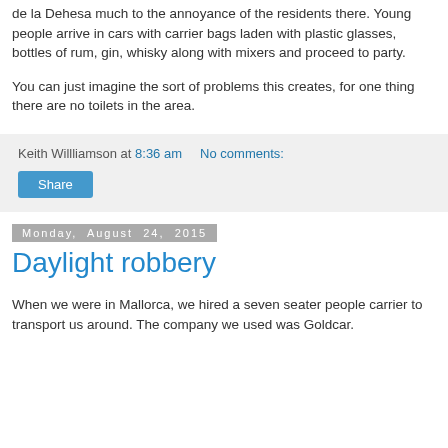de la Dehesa much to the annoyance of the residents there. Young people arrive in cars with carrier bags laden with plastic glasses, bottles of rum, gin, whisky along with mixers and proceed to party.
You can just imagine the sort of problems this creates, for one thing there are no toilets in the area.
Keith Willliamson at 8:36 am   No comments:
Share
Monday, August 24, 2015
Daylight robbery
When we were in Mallorca, we hired a seven seater people carrier to transport us around. The company we used was Goldcar.